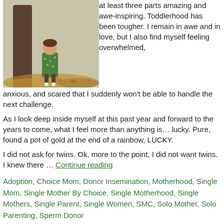[Figure (photo): Child in green dress standing in front of a tree with autumn leaves on the ground]
at least three parts amazing and awe-inspiring. Toddlerhood has been tougher. I remain in awe and in love, but I also find myself feeling overwhelmed, anxious, and scared that I suddenly won't be able to handle the next challenge.
As I look deep inside myself at this past year and forward to the years to come, what I feel more than anything is… lucky. Pure, found a pot of gold at the end of a rainbow, LUCKY.
I did not ask for twins. Ok, more to the point, I did not want twins. I knew there … Continue reading
Adoption, Choice Mom, Donor Insemination, Motherhood, Single Mom, Single Mother By Choice, Single Motherhood, Single Mothers, Single Parent, Single Women, SMC, Solo Mother, Solo Parenting, Sperm Donor